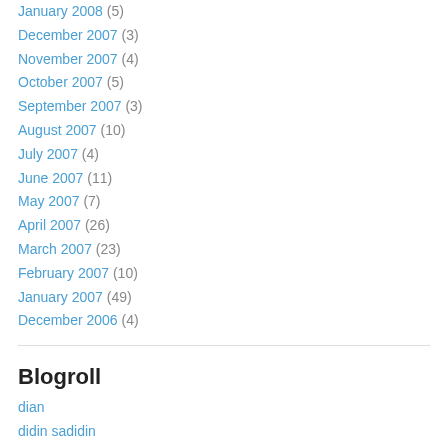January 2008 (5)
December 2007 (3)
November 2007 (4)
October 2007 (5)
September 2007 (3)
August 2007 (10)
July 2007 (4)
June 2007 (11)
May 2007 (7)
April 2007 (26)
March 2007 (23)
February 2007 (10)
January 2007 (49)
December 2006 (4)
Blogroll
dian
didin sadidin